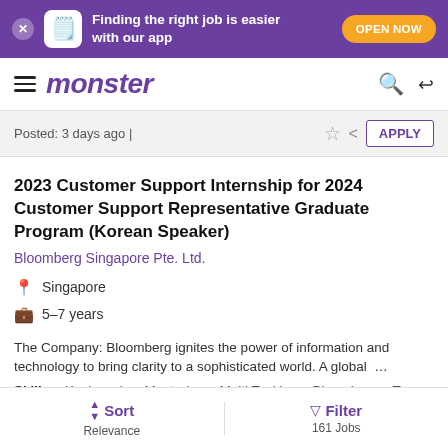[Figure (screenshot): Monster job portal app banner with purple background, mascot, text 'Finding the right job is easier with our app', and orange 'OPEN NOW' button]
monster
Posted: 3 days ago |
2023 Customer Support Internship for 2024 Customer Support Representative Graduate Program (Korean Speaker)
Bloomberg Singapore Pte. Ltd.
Singapore
5-7 years
The Company: Bloomberg ignites the power of information and technology to bring clarity to a sophisticated world. A global …
Skills : Keyboards , Mentoring , Multi Tasking , Bloomberg , Tr…
Sort Relevance
Filter 161 Jobs